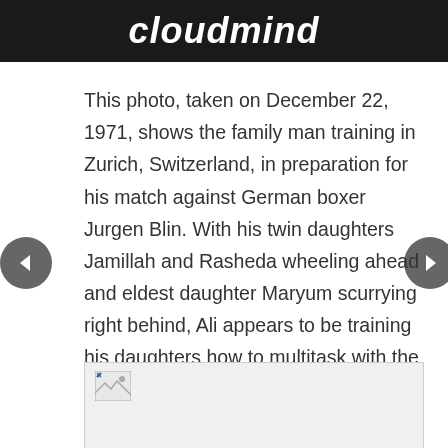cloudmind
This photo, taken on December 22, 1971, shows the family man training in Zurich, Switzerland, in preparation for his match against German boxer Jurgen Blin. With his twin daughters Jamillah and Rasheda wheeling ahead and eldest daughter Maryum scurrying right behind, Ali appears to be training his daughters how to multitask with the utmost efficiency.
[Figure (photo): Broken image placeholder with small image icon in top-left of a light gray box]